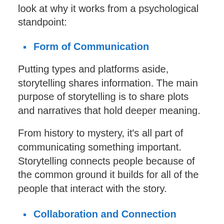look at why it works from a psychological standpoint:
Form of Communication
Putting types and platforms aside, storytelling shares information. The main purpose of storytelling is to share plots and narratives that hold deeper meaning.
From history to mystery, it’s all part of communicating something important. Storytelling connects people because of the common ground it builds for all of the people that interact with the story.
Collaboration and Connection
Storytelling births in its audience an